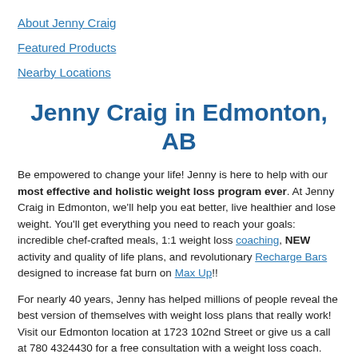About Jenny Craig
Featured Products
Nearby Locations
Jenny Craig in Edmonton, AB
Be empowered to change your life! Jenny is here to help with our most effective and holistic weight loss program ever. At Jenny Craig in Edmonton, we'll help you eat better, live healthier and lose weight. You'll get everything you need to reach your goals: incredible chef-crafted meals, 1:1 weight loss coaching, NEW activity and quality of life plans, and revolutionary Recharge Bars designed to increase fat burn on Max Up!!
For nearly 40 years, Jenny has helped millions of people reveal the best version of themselves with weight loss plans that really work! Visit our Edmonton location at 1723 102nd Street or give us a call at 780 4324430 for a free consultation with a weight loss coach.